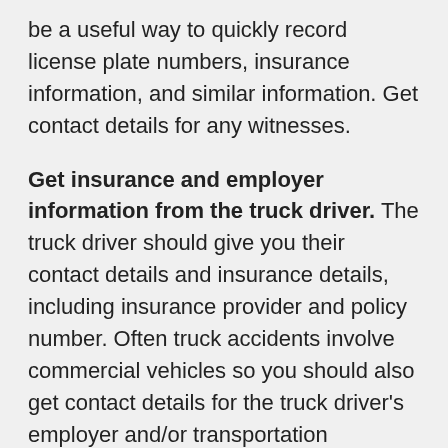be a useful way to quickly record license plate numbers, insurance information, and similar information. Get contact details for any witnesses.
Get insurance and employer information from the truck driver. The truck driver should give you their contact details and insurance details, including insurance provider and policy number. Often truck accidents involve commercial vehicles so you should also get contact details for the truck driver's employer and/or transportation company. Sometimes this information will be displayed on the cab or body of the truck.
Do not admit fault. You should not admit any fault or liability at the scene of the accident or at any time before speaking to an experienced trucking accident